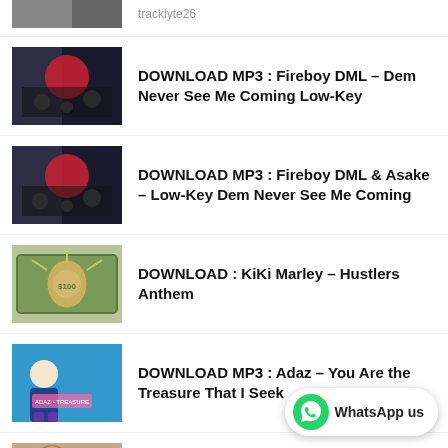(partial top item - truncated at top)
DOWNLOAD MP3 : Fireboy DML – Dem Never See Me Coming Low-Key
DOWNLOAD MP3 : Fireboy DML & Asake – Low-Key Dem Never See Me Coming
DOWNLOAD : KiKi Marley – Hustlers Anthem
DOWNLOAD MP3 : Adaz – You Are the Treasure That I Seek
DOWNLOAD MP3 : 2Face – You Are My
WhatsApp us